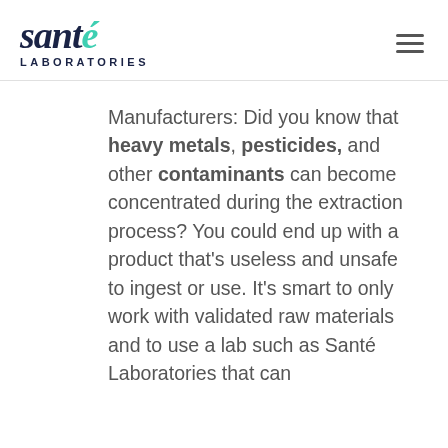santé LABORATORIES
Manufacturers: Did you know that heavy metals, pesticides, and other contaminants can become concentrated during the extraction process? You could end up with a product that's useless and unsafe to ingest or use. It's smart to only work with validated raw materials and to use a lab such as Santé Laboratories that can